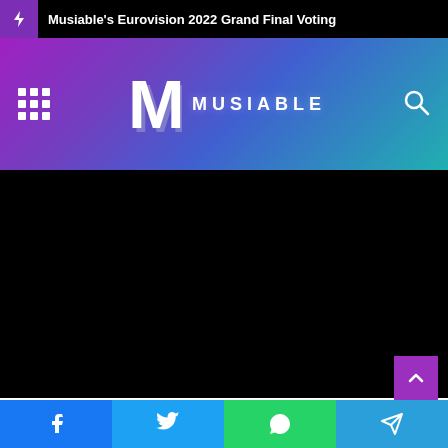Musiable's Eurovision 2022 Grand Final Voting
[Figure (logo): Musiable logo with stylized M letter and MUSIABLE text, navigation icons (grid menu, search), on purple-to-teal gradient header background]
[Figure (other): Large black rectangle area (video/content placeholder)]
Facebook, Twitter, WhatsApp, Telegram share buttons